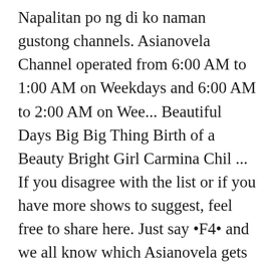Napalitan po ng di ko naman gustong channels. Asianovela Channel operated from 6:00 AM to 1:00 AM on Weekdays and 6:00 AM to 2:00 AM on Wee... Beautiful Days Big Big Thing Birth of a Beauty Bright Girl Carmina Chil ... If you disagree with the list or if you have more shows to suggest, feel free to share here. Just say "F4" and we all know which Asianovela gets the Number One spot on this list. ABS-CBN (defunct/inactive) S+A Cine Mo! For the current shows see List of programs broadcast by Asianovela Channel Previous programming Korean dramas. Asianovela Channel is a Philippine free-to-air channel created by ABS-CBN. Asianovela Channel is